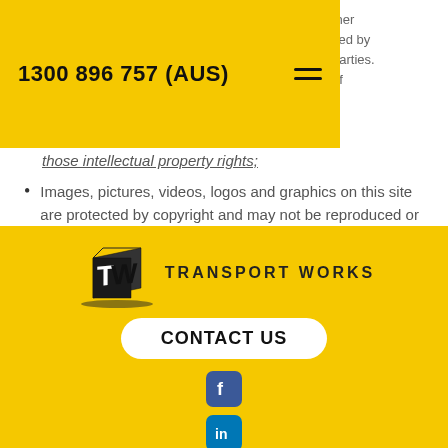1300 896 757 (AUS)
ther
ved by
parties.
of
those intellectual property rights;
Images, pictures, videos, logos and graphics on this site are protected by copyright and may not be reproduced or appropriated in any manner without written permission of their respective owner(s)
[Figure (logo): Transport Works logo with stylized TW cube graphic and company name TRANSPORT WORKS]
CONTACT US
[Figure (logo): Facebook social media icon (blue square with white f)]
[Figure (logo): LinkedIn social media icon (blue square with white in)]